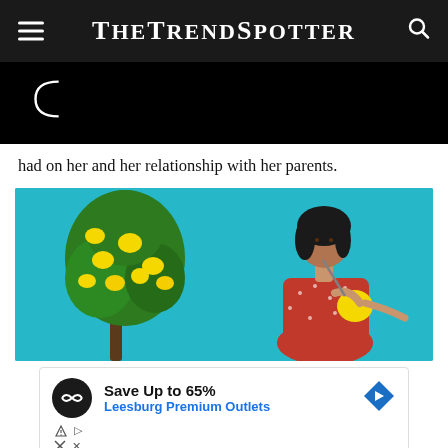TheTrendSpotter
[Figure (photo): Black background section with partial circular graphic (parentheses-like arc) in white outline]
had on her and her relationship with her parents.
[Figure (photo): Woman in red floral dress drinking from a lemon/straw, standing next to a lemon tree against a bright teal/cyan background]
[Figure (infographic): Advertisement: Save Up to 65% Leesburg Premium Outlets, with Infinity Outlets logo and navigation arrow icon]